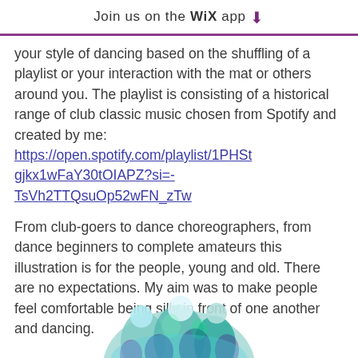Join us on the WiX app ⬇
your style of dancing based on the shuffling of a playlist or your interaction with the mat or others around you. The playlist is consisting of a historical range of club classic music chosen from Spotify and created by me: https://open.spotify.com/playlist/1PHStgjkx1wFaY30tOIAPZ?si=-TsVh2TTQsuOp52wFN_zTw
From club-goers to dance choreographers, from dance beginners to complete amateurs this illustration is for the people, young and old. There are no expectations. My aim was to make people feel comfortable being silly in front of one another and dancing.
[Figure (illustration): Colorful illustrated artwork showing dancing figures in teal, blue, green and purple tones, partially visible at the bottom of the page.]